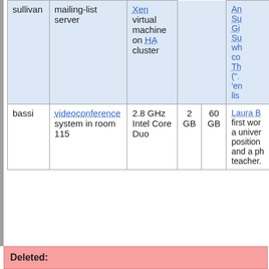| name | purpose | hardware/software | RAM | disk | notes |
| --- | --- | --- | --- | --- | --- |
| sullivan | mailing-list server | Xen virtual machine on HA cluster |  |  | ... |
| bassi | videoconference system in room 115 | 2.8 GHz Intel Core Duo | 2 GB | 60 GB | Laura B... first wor... a univer... position... and a ph... teacher. |
Deleted: